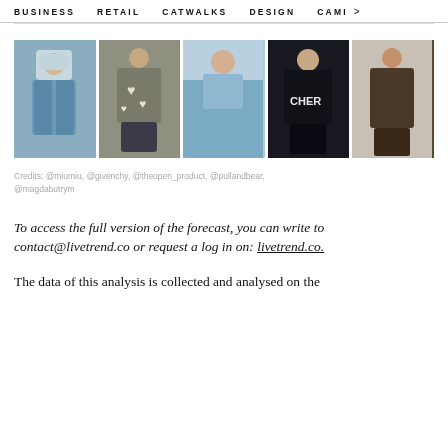BUSINESS   RETAIL   CATWALKS   DESIGN   CAMI >
[Figure (photo): Five fashion photos in a horizontal row showing models in various outfits: denim look, heart-patterned sweater, blue outfit, dark hoodie with CHER text, leather outfit]
Credits: @miumiu, @givenchy, @theopen_product, @pullandbear, @magdabutrym
To access the full version of the forecast, you can write to contact@livetrend.co or request a log in on: livetrend.co.
The data of this analysis is collected and analysed on the